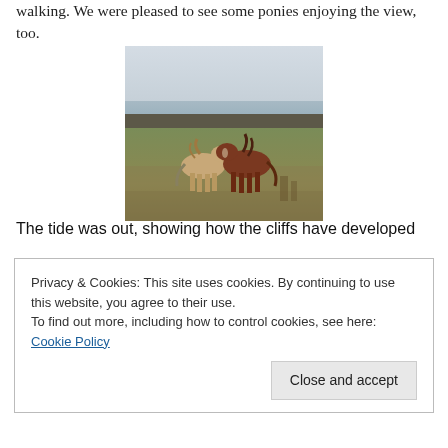walking. We were pleased to see some ponies enjoying the view, too.
[Figure (photo): Two ponies standing on coastal grassland with rocky shoreline and overcast sky in the background. One pony is light/cream colored and one is brown/chestnut.]
The tide was out, showing how the cliffs have developed
Privacy & Cookies: This site uses cookies. By continuing to use this website, you agree to their use.
To find out more, including how to control cookies, see here: Cookie Policy

Close and accept